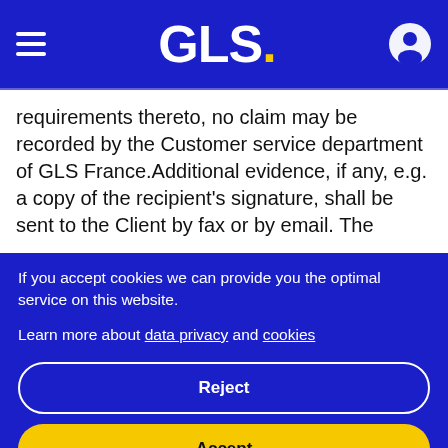GLS.
requirements thereto, no claim may be recorded by the Customer service department of GLS France.Additional evidence, if any, e.g. a copy of the recipient's signature, shall be sent to the Client by fax or by email. The
If you accept cookies we can provide you the optimal service on this website.
Learn more about data privacy and cookies
Reject
Accept